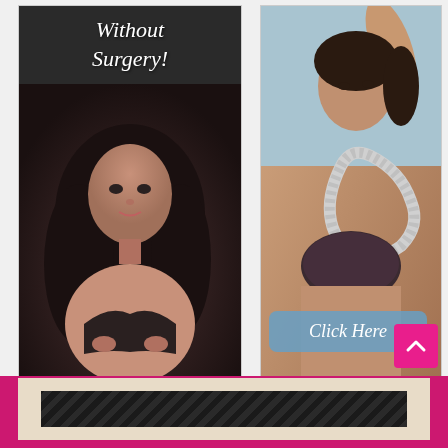[Figure (photo): Left advertisement banner with dark background showing text 'Without Surgery!' and a woman with dark hair in a black bra]
[Figure (photo): Right advertisement banner showing a woman in a dark lace bra with a measuring tape, with a 'Click Here' button overlay]
Click Here
[Figure (other): Scroll-to-top button (pink square with upward chevron arrow)]
[Figure (other): Bottom pink bar with beige inner panel containing a dark carbon-fiber pattern strip]